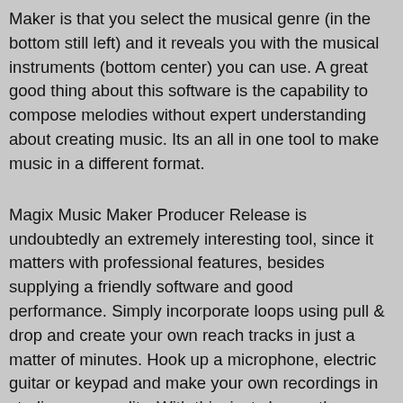Maker is that you select the musical genre (in the bottom still left) and it reveals you with the musical instruments (bottom center) you can use. A great good thing about this software is the capability to compose melodies without expert understanding about creating music. Its an all in one tool to make music in a different format.
Magix Music Maker Producer Release is undoubtedly an extremely interesting tool, since it matters with professional features, besides supplying a friendly software and good performance. Simply incorporate loops using pull & drop and create your own reach tracks in just a matter of minutes. Hook up a microphone, electric guitar or keypad and make your own recordings in studio room quality. With this, just choose the device you want and move it to the guts of this program. Record exterior musical instruments and vocals, add and organize loop-based musical elements, record, and playback